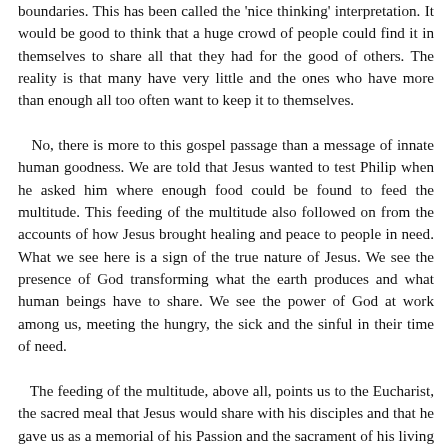boundaries. This has been called the 'nice thinking' interpretation. It would be good to think that a huge crowd of people could find it in themselves to share all that they had for the good of others. The reality is that many have very little and the ones who have more than enough all too often want to keep it to themselves.

   No, there is more to this gospel passage than a message of innate human goodness. We are told that Jesus wanted to test Philip when he asked him where enough food could be found to feed the multitude. This feeding of the multitude also followed on from the accounts of how Jesus brought healing and peace to people in need. What we see here is a sign of the true nature of Jesus. We see the presence of God transforming what the earth produces and what human beings have to share. We see the power of God at work among us, meeting the hungry, the sick and the sinful in their time of need.

   The feeding of the multitude, above all, points us to the Eucharist, the sacred meal that Jesus would share with his disciples and that he gave us as a memorial of his Passion and the sacrament of his living presence. The gospel tells us today how Jesus took the loaves, blessed them, broke them and shared them. This follows the pattern of the Eucharist: take, bless, break and give. Jesus is not just sharing